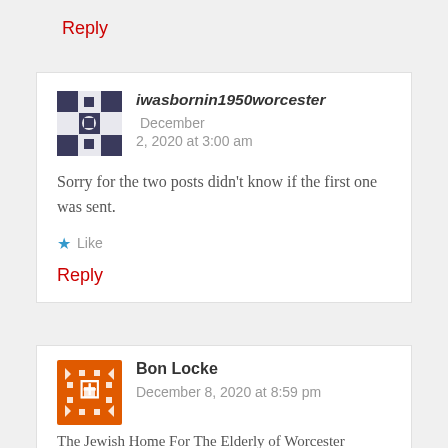Reply
iwasbornin1950worcester   December 2, 2020 at 3:00 am
Sorry for the two posts didn’t know if the first one was sent.
★ Like
Reply
Bon Locke   December 8, 2020 at 8:59 pm
The Jewish Home For The Elderly of Worcester